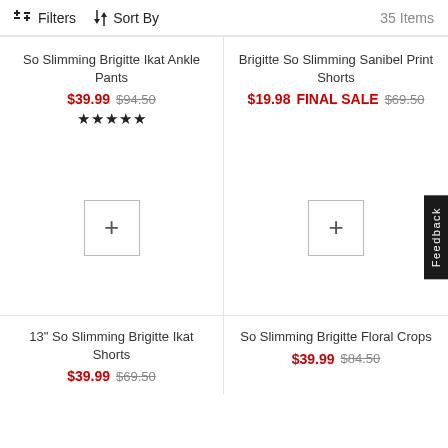Filters  Sort By  35 Items
So Slimming Brigitte Ikat Ankle Pants
$39.99  $94.50  ★★★★★
Brigitte So Slimming Sanibel Print Shorts
$19.98 FINAL SALE  $69.50
[Figure (other): Product image placeholder with plus button for 13" So Slimming Brigitte Ikat Shorts]
13" So Slimming Brigitte Ikat Shorts
$39.99  $69.50
[Figure (other): Product image placeholder with plus button for So Slimming Brigitte Floral Crops]
So Slimming Brigitte Floral Crops
$39.99  $84.50